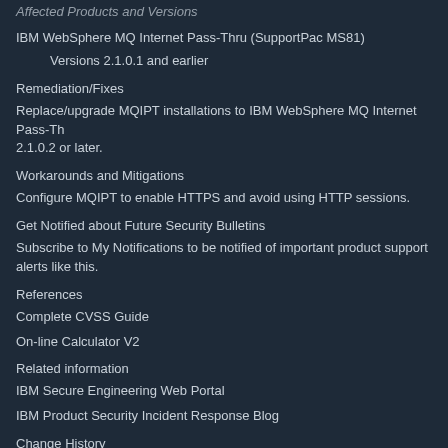Affected Products and Versions
IBM WebSphere MQ Internet Pass-Thru (SupportPac MS81)
Versions 2.1.0.1 and earlier
Remediation/Fixes
Replace/upgrade MQIPT installations to IBM WebSphere MQ Internet Pass-Th 2.1.0.2 or later.
Workarounds and Mitigations
Configure MQIPT to enable HTTPS and avoid using HTTP sessions.
Get Notified about Future Security Bulletins
Subscribe to My Notifications to be notified of important product support alerts like this.
References
Complete CVSS Guide
On-line Calculator V2
Related information
IBM Secure Engineering Web Portal
IBM Product Security Incident Response Blog
Change History